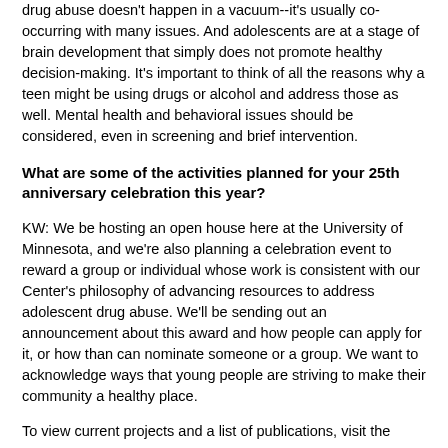drug abuse doesn't happen in a vacuum--it's usually co-occurring with many issues. And adolescents are at a stage of brain development that simply does not promote healthy decision-making. It's important to think of all the reasons why a teen might be using drugs or alcohol and address those as well. Mental health and behavioral issues should be considered, even in screening and brief intervention.
What are some of the activities planned for your 25th anniversary celebration this year?
KW: We be hosting an open house here at the University of Minnesota, and we're also planning a celebration event to reward a group or individual whose work is consistent with our Center's philosophy of advancing resources to address adolescent drug abuse. We'll be sending out an announcement about this award and how people can apply for it, or how than can nominate someone or a group. We want to acknowledge ways that young people are striving to make their community a healthy place.
To view current projects and a list of publications, visit the